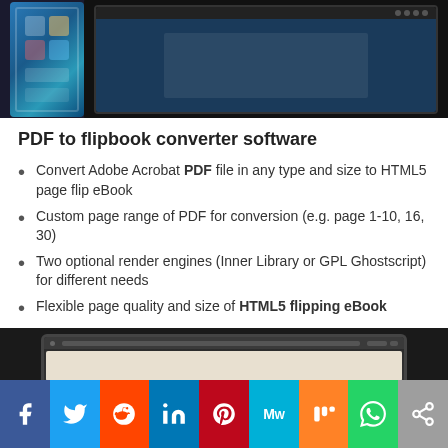[Figure (photo): Product box and software interface screenshot on dark background]
PDF to flipbook converter software
Convert Adobe Acrobat PDF file in any type and size to HTML5 page flip eBook
Custom page range of PDF for conversion (e.g. page 1-10, 16, 30)
Two optional render engines (Inner Library or GPL Ghostscript) for different needs
Flexible page quality and size of HTML5 flipping eBook
Import existing links and table of contents in source PDF
Enable search feature in page flip book
[Figure (screenshot): Laptop screen showing flipbook software interface]
[Figure (other): Social media sharing bar with Facebook, Twitter, Reddit, LinkedIn, Pinterest, MeWe, Mix, WhatsApp, Share buttons]